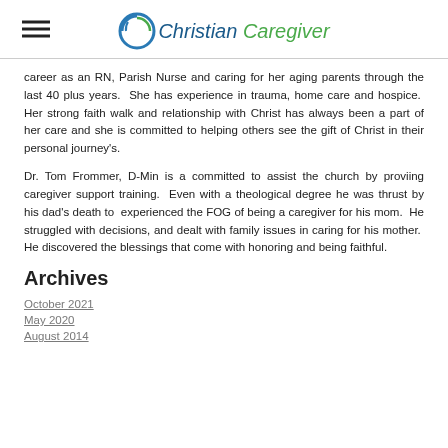Christian Caregiver
career as an RN, Parish Nurse and caring for her aging parents through the last 40 plus years.  She has experience in trauma, home care and hospice.  Her strong faith walk and relationship with Christ has always been a part of her care and she is committed to helping others see the gift of Christ in their personal journey's.
Dr. Tom Frommer, D-Min is a committed to assist the church by proviing caregiver support training.  Even with a theological degree he was thrust by his dad's death to  experienced the FOG of being a caregiver for his mom.  He struggled with decisions, and dealt with family issues in caring for his mother.  He discovered the blessings that come with honoring and being faithful.
Archives
October 2021
May 2020
August 2014